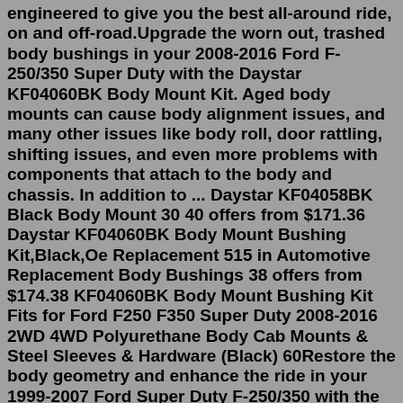engineered to give you the best all-around ride, on and off-road.Upgrade the worn out, trashed body bushings in your 2008-2016 Ford F-250/350 Super Duty with the Daystar KF04060BK Body Mount Kit. Aged body mounts can cause body alignment issues, and many other issues like body roll, door rattling, shifting issues, and even more problems with components that attach to the body and chassis. In addition to ... Daystar KF04058BK Black Body Mount 30 40 offers from $171.36 Daystar KF04060BK Body Mount Bushing Kit,Black,Oe Replacement 515 in Automotive Replacement Body Bushings 38 offers from $174.38 KF04060BK Body Mount Bushing Kit Fits for Ford F250 F350 Super Duty 2008-2016 2WD 4WD Polyurethane Body Cab Mounts & Steel Sleeves & Hardware (Black) 60Restore the body geometry and enhance the ride in your 1999-2007 Ford Super Duty F-250/350 with the Daystar KF04058BK Body Mount Kit. Body Mounts are always overlooked when it comes to restoring ride quality. The factory mounts are often damaged and